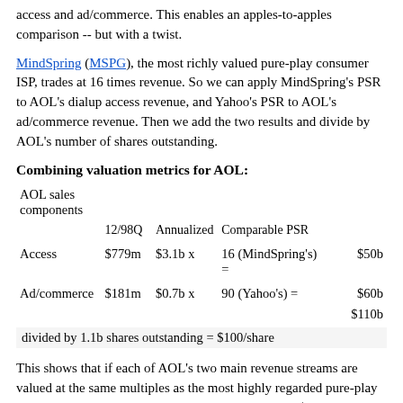access and ad/commerce. This enables an apples-to-apples comparison -- but with a twist.
MindSpring (MSPG), the most richly valued pure-play consumer ISP, trades at 16 times revenue. So we can apply MindSpring's PSR to AOL's dialup access revenue, and Yahoo's PSR to AOL's ad/commerce revenue. Then we add the two results and divide by AOL's number of shares outstanding.
Combining valuation metrics for AOL:
| AOL sales components | 12/98Q | Annualized | Comparable PSR |  |
| --- | --- | --- | --- | --- |
| Access | $779m | $3.1b x | 16 (MindSpring's) = | $50b |
| Ad/commerce | $181m | $0.7b x | 90 (Yahoo's) = | $60b |
|  |  |  |  | $110b |
divided by 1.1b shares outstanding = $100/share
This shows that if each of AOL's two main revenue streams are valued at the same multiples as the most highly regarded pure-play counterparts, MindSpring and Yahoo, AOL is worth $100 per